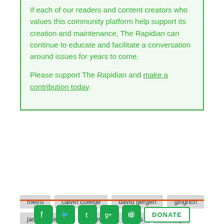If each of our readers and content creators who values this community platform help support its creation and maintenance, The Rapidian can continue to educate and facilitate a conversation around issues for years to come.

Please support The Rapidian and make a contribution today.
metro
calvin college
david gergen
gingrich
january series
obama
politics
romney
Facebook Twitter Tumblr Google+ Reddit DONATE